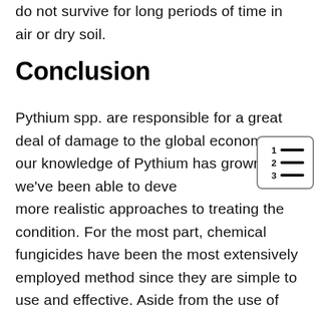do not survive for long periods of time in air or dry soil.
Conclusion
Pythium spp. are responsible for a great deal of damage to the global economy. As our knowledge of Pythium has grown, we've been able to develop more realistic approaches to treating the condition. For the most part, chemical fungicides have been the most extensively employed method since they are simple to use and effective. Aside from the use of fungicides and other measures to control water content, regulating temperature, and using compost to reduce the risk of Pythium